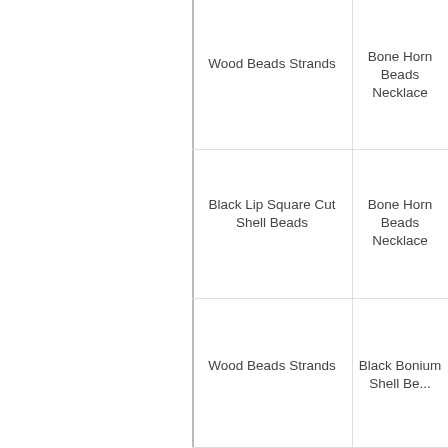Wood Beads Strands
Bone Horn Beads Necklace
Black Lip Square Cut Shell Beads
Bone Horn Beads Necklace
Wood Beads Strands
Black Bonium Shell Beads